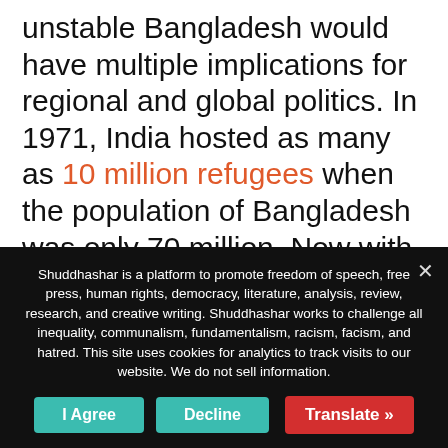unstable Bangladesh would have multiple implications for regional and global politics. In 1971, India hosted as many as 10 million refugees when the population of Bangladesh was only 70 million. Now with population is over 160 million, an unstable Bangladesh would pose a threat well beyond India. Even if a stable Bangladesh remains highly unequal and Bangladeshis in record numbers are trying to
Shuddhashar is a platform to promote freedom of speech, free press, human rights, democracy, literature, analysis, review, research, and creative writing. Shuddhashar works to challenge all inequality, communalism, fundamentalism, racism, facism, and hatred. This site uses cookies for analytics to track visits to our website. We do not sell information.